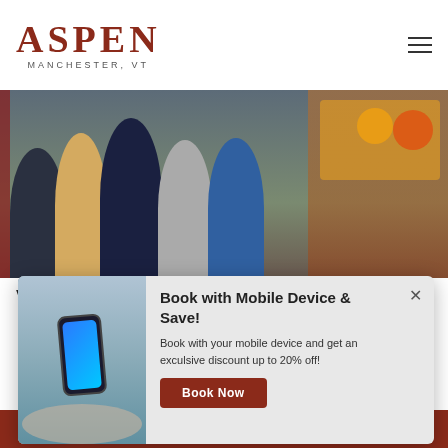[Figure (logo): Aspen Manchester VT logo in dark red with hamburger menu icon]
[Figure (photo): Group of five people smiling outdoors in front of produce/pumpkin display]
Vermont Country Store
[Figure (photo): Hand holding a smartphone outdoors near water]
Book with Mobile Device & Save!
Book with your mobile device and get an exculsive discount up to 20% off!
Book Now
CALL US   LOCATION   BOOK NOW